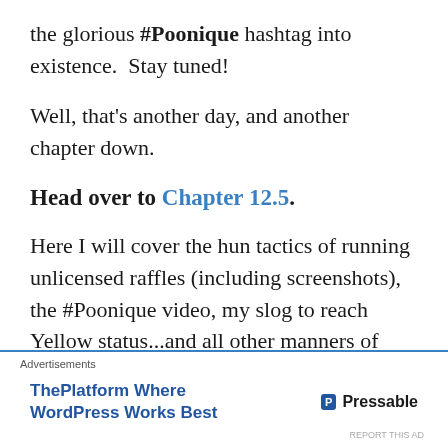the glorious #Poonique hashtag into existence.  Stay tuned!
Well, that's another day, and another chapter down.
Head over to Chapter 12.5.
Here I will cover the hun tactics of running unlicensed raffles (including screenshots), the #Poonique video, my slog to reach Yellow status...and all other manners of hun-isms.
[Figure (screenshot): Advertisement banner: 'ThePlatform Where WordPress Works Best' by Pressable]